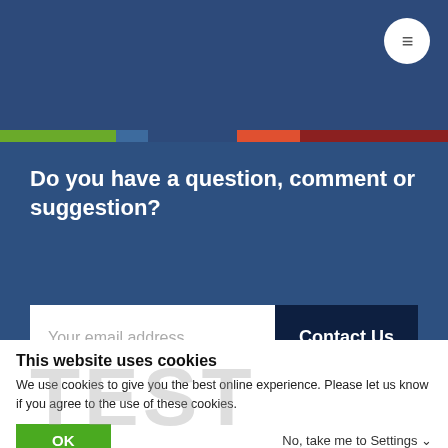≡
Do you have a question, comment or suggestion?
Your email address
Contact Us
This website uses cookies
We use cookies to give you the best online experience. Please let us know if you agree to the use of these cookies.
OK
No, take me to Settings